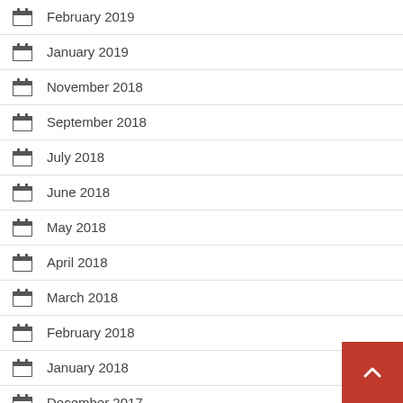February 2019
January 2019
November 2018
September 2018
July 2018
June 2018
May 2018
April 2018
March 2018
February 2018
January 2018
December 2017
November 2017